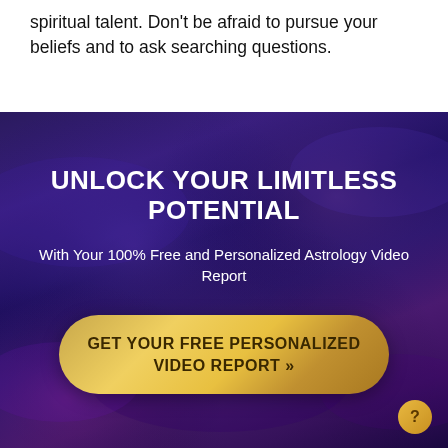spiritual talent. Don't be afraid to pursue your beliefs and to ask searching questions.
[Figure (infographic): Dark purple/indigo cloudy background advertisement banner. Contains headline 'UNLOCK YOUR LIMITLESS POTENTIAL', subtitle 'With Your 100% Free and Personalized Astrology Video Report', and a gold gradient pill-shaped button with text 'GET YOUR FREE PERSONALIZED VIDEO REPORT »'. A small gold circle with a question mark icon is in the bottom right corner.]